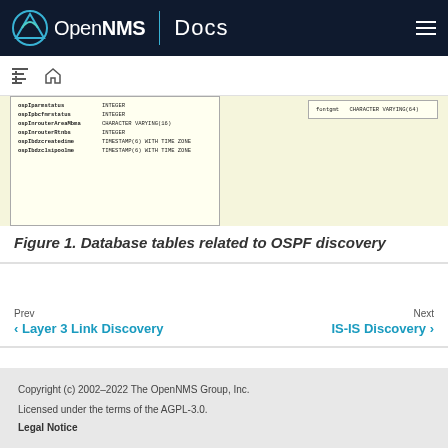OpenNMS | Docs
[Figure (screenshot): Partial screenshot of database table schema related to OSPF discovery, showing table structure with column names and data types including INTEGER, CHARACTER VARYING, and TIMESTAMP WITH TIME ZONE fields.]
Figure 1. Database tables related to OSPF discovery
Prev
Layer 3 Link Discovery
Next
IS-IS Discovery
Copyright (c) 2002–2022 The OpenNMS Group, Inc.
Licensed under the terms of the AGPL-3.0.
Legal Notice